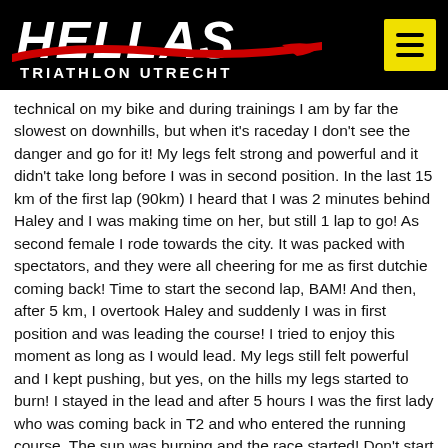HELLAS TRIATHLON UTRECHT
technical on my bike and during trainings I am by far the slowest on downhills, but when it's raceday I don't see the danger and go for it! My legs felt strong and powerful and it didn't take long before I was in second position. In the last 15 km of the first lap (90km) I heard that I was 2 minutes behind Haley and I was making time on her, but still 1 lap to go! As second female I rode towards the city. It was packed with spectators, and they were all cheering for me as first dutchie coming back! Time to start the second lap, BAM! And then, after 5 km, I overtook Haley and suddenly I was in first position and was leading the course! I tried to enjoy this moment as long as I would lead. My legs still felt powerful and I kept pushing, but yes, on the hills my legs started to burn! I stayed in the lead and after 5 hours I was the first lady who was coming back in T2 and who entered the running course. The sun was burning and the race started! Don't start too fast, stay hydrated, stay in the process, and don't think about the other girls, do your own thing. My family and friends were all